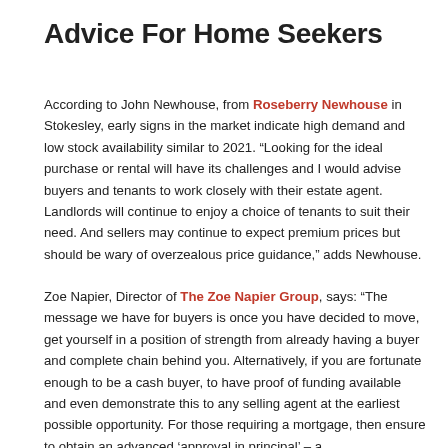Advice For Home Seekers
According to John Newhouse, from Roseberry Newhouse in Stokesley, early signs in the market indicate high demand and low stock availability similar to 2021. “Looking for the ideal purchase or rental will have its challenges and I would advise buyers and tenants to work closely with their estate agent. Landlords will continue to enjoy a choice of tenants to suit their need. And sellers may continue to expect premium prices but should be wary of overzealous price guidance,” adds Newhouse.
Zoe Napier, Director of The Zoe Napier Group, says: “The message we have for buyers is once you have decided to move, get yourself in a position of strength from already having a buyer and complete chain behind you. Alternatively, if you are fortunate enough to be a cash buyer, to have proof of funding available and even demonstrate this to any selling agent at the earliest possible opportunity. For those requiring a mortgage, then ensure to obtain an advanced ‘approval in principal’ – a